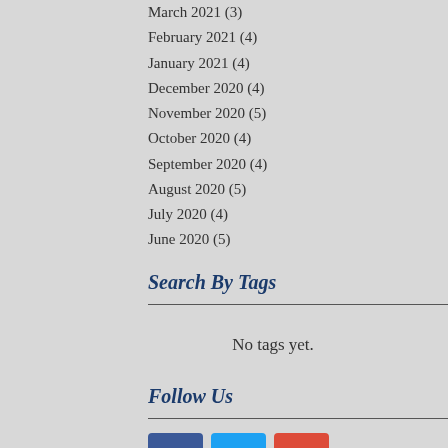March 2021 (3)
February 2021 (4)
January 2021 (4)
December 2020 (4)
November 2020 (5)
October 2020 (4)
September 2020 (4)
August 2020 (5)
July 2020 (4)
June 2020 (5)
Search By Tags
No tags yet.
Follow Us
[Figure (other): Social media icons: Facebook (blue), Twitter (light blue), Google Plus (red)]